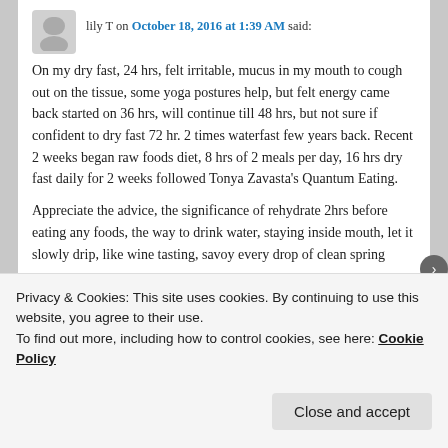lily T on October 18, 2016 at 1:39 AM said:
On my dry fast, 24 hrs, felt irritable, mucus in my mouth to cough out on the tissue, some yoga postures help, but felt energy came back started on 36 hrs, will continue till 48 hrs, but not sure if confident to dry fast 72 hr. 2 times waterfast few years back. Recent 2 weeks began raw foods diet, 8 hrs of 2 meals per day, 16 hrs dry fast daily for 2 weeks followed Tonya Zavasta's Quantum Eating.
Appreciate the advice, the significance of rehydrate 2hrs before eating any foods, the way to drink water, staying inside mouth, let it slowly drip, like wine tasting, savoy every drop of clean spring
Privacy & Cookies: This site uses cookies. By continuing to use this website, you agree to their use.
To find out more, including how to control cookies, see here: Cookie Policy